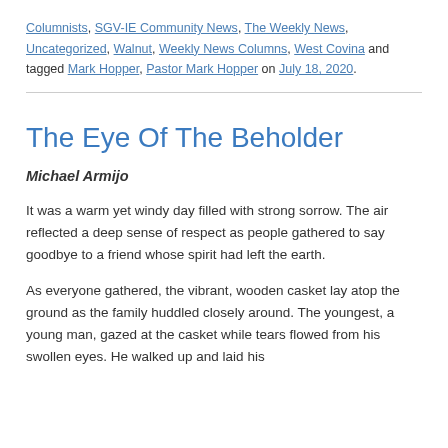Columnists, SGV-IE Community News, The Weekly News, Uncategorized, Walnut, Weekly News Columns, West Covina and tagged Mark Hopper, Pastor Mark Hopper on July 18, 2020.
The Eye Of The Beholder
Michael Armijo
It was a warm yet windy day filled with strong sorrow. The air reflected a deep sense of respect as people gathered to say goodbye to a friend whose spirit had left the earth.
As everyone gathered, the vibrant, wooden casket lay atop the ground as the family huddled closely around. The youngest, a young man, gazed at the casket while tears flowed from his swollen eyes. He walked up and laid his